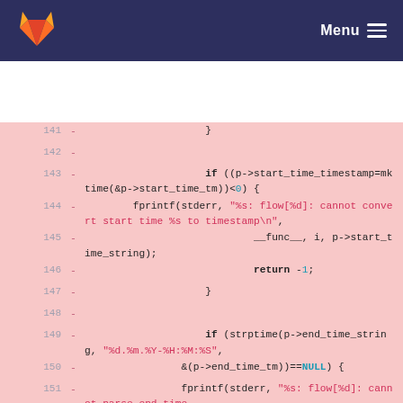GitLab Menu
[Figure (screenshot): GitLab diff view showing removed C code lines 141-151 with syntax highlighting on a pink/red background. Lines show code for timestamp conversion and error handling using fprintf, mktime, strptime functions.]